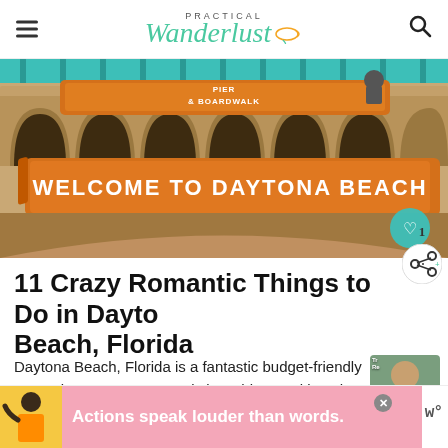PRACTICAL Wanderlust
[Figure (photo): Entrance sign at Daytona Beach Pier and Boardwalk with 'Welcome to Daytona Beach' orange banner sign over stone archway]
11 Crazy Romantic Things to Do in Daytona Beach, Florida
Daytona Beach, Florida is a fantastic budget-friendly romantic getaway. From pristine white-sand beaches to adrenaline-pumping adventure, there's something for everyone - no matter what your defi...
[Figure (photo): Advertisement banner: Actions speak louder than words.]